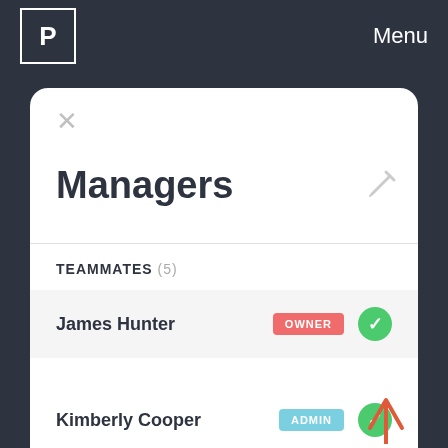P   Menu
Managers
TEAMMATES (5)
James Hunter   OWNER   ✓
Kimberly Cooper   ADMIN   ✓